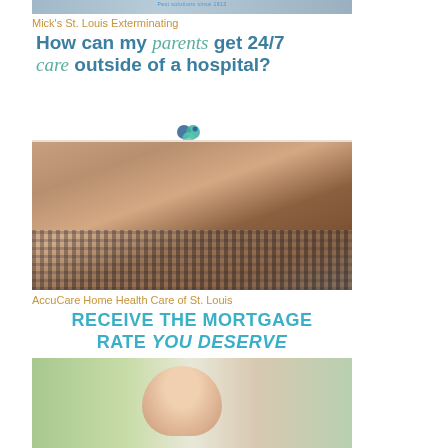[Figure (photo): Top image strip - partial view of a person, likely from an exterminating company ad]
Mick's St. Louis Exterminating
How can my parents get 24/7 care outside of a hospital?
[Figure (logo): AccuCare heart logo in blue and teal colors]
[Figure (photo): Close-up photo of elderly person's wrinkled hands resting on plaid fabric]
AccuCare Home Health Care of St. Louis
RECEIVE THE MORTGAGE RATE YOU DESERVE
[Figure (photo): Smiling couple standing in front of a house]